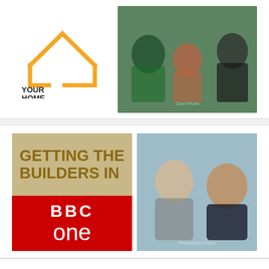[Figure (logo): Your Home Made Perfect logo — house outline icon in orange/yellow with bold text reading YOUR HOME MADE PERFECT]
[Figure (photo): Cast photo for 'Your Home Made Perfect' TV show — three people (a woman in green, a woman in pink, a man in black) standing on an outdoor staircase]
[Figure (logo): Getting the Builders In show logo on tan background, with BBC One logo in red below]
[Figure (photo): Photo of two presenters for 'Getting the Builders In' on BBC One — a smiling blonde woman and a smiling man in a dark polo shirt]